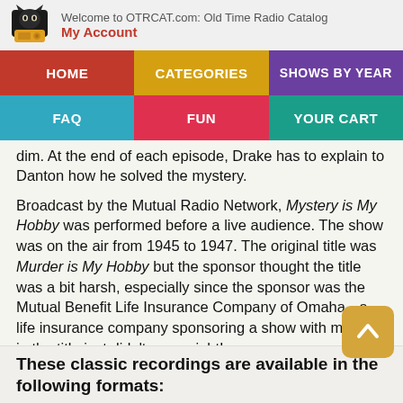Welcome to OTRCAT.com: Old Time Radio Catalog
My Account
[Figure (screenshot): Navigation menu with HOME (red), CATEGORIES (orange/gold), SHOWS BY YEAR (purple), FAQ (teal/blue), FUN (red/pink), YOUR CART (teal/green) buttons]
...At the end of each episode, Drake has to explain to Danton how he solved the mystery.
Broadcast by the Mutual Radio Network, Mystery is My Hobby was performed before a live audience. The show was on the air from 1945 to 1947. The original title was Murder is My Hobby but the sponsor thought the title was a bit harsh, especially since the sponsor was the Mutual Benefit Life Insurance Company of Omaha --a life insurance company sponsoring a show with murder in the title just didn't seem right!
These classic recordings are available in the following formats: